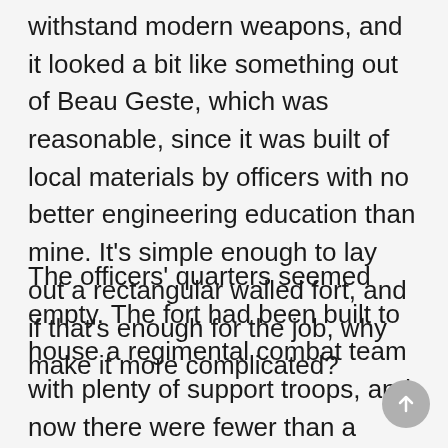withstand modern weapons, and it looked a bit like something out of Beau Geste, which was reasonable, since it was built of local materials by officers with no better engineering education than mine. It's simple enough to lay out a rectangular walled fort, and if that's enough for the job, why make it more complicated?
The officers' quarters seemed empty. The fort had been built to house a regimental combat team with plenty of support troops, and now there were fewer than a dozen marine officers on the planet. Most of them lived in family quarters, and the militia officers generally lived in homes in the city. It left the rest of us with lots of room to rattle around in. Falkenberg drew